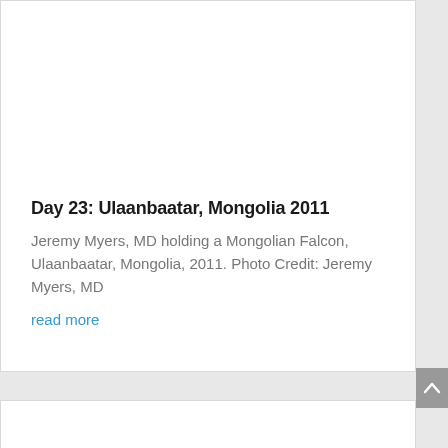Day 23: Ulaanbaatar, Mongolia 2011
Jeremy Myers, MD holding a Mongolian Falcon, Ulaanbaatar, Mongolia, 2011. Photo Credit: Jeremy Myers, MD
read more